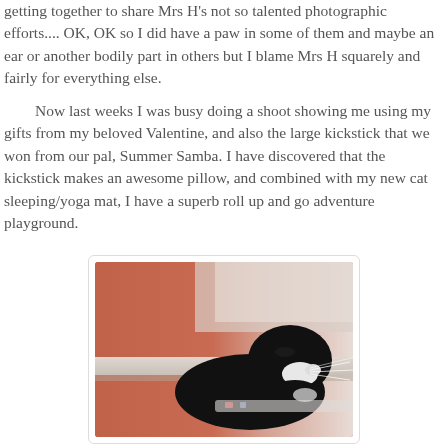getting together to share Mrs H's not so talented photographic efforts.... OK, OK so I did have a paw in some of them and maybe an ear or another bodily part in others but I blame Mrs H squarely and fairly for everything else.

Now last weeks I was busy doing a shoot showing me using my gifts from my beloved Valentine, and also the large kickstick that we won from our pal, Summer Samba. I have discovered that the kickstick makes an awesome pillow, and combined with my new cat sleeping/yoga mat, I have a superb roll up and go adventure playground.
[Figure (photo): A close-up photograph of a black and white cat resting, seen from the side, with its head down. The background is an orange-brown color on the left and light/white on the right. The cat has white whiskers visible.]